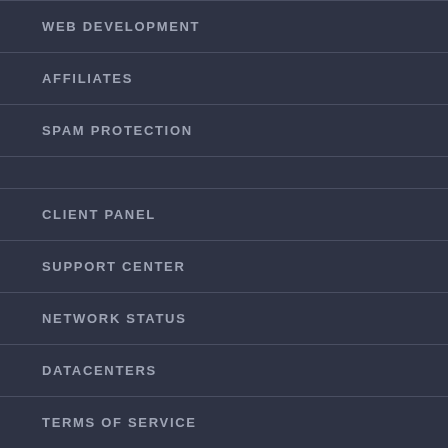WEB DEVELOPMENT
AFFILIATES
SPAM PROTECTION
CLIENT PANEL
SUPPORT CENTER
NETWORK STATUS
DATACENTERS
TERMS OF SERVICE